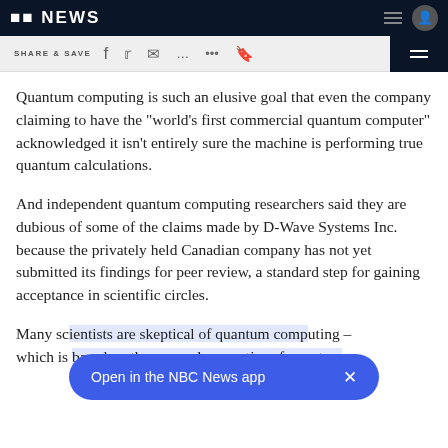NBC NEWS
[Figure (screenshot): NBC News website share bar with social icons: Facebook, Twitter, email, message, more options, and bookmark]
Quantum computing is such an elusive goal that even the company claiming to have the "world's first commercial quantum computer" acknowledged it isn't entirely sure the machine is performing true quantum calculations.
And independent quantum computing researchers said they are dubious of some of the claims made by D-Wave Systems Inc. because the privately held Canadian company has not yet submitted its findings for peer review, a standard step for gaining acceptance in scientific circles.
Many sc[ientists are skeptical of quantum comp]uting – which is [based on the unusual properties of quantum p]hysics [that have been understood for decades, but h]
[Figure (screenshot): Blue pill-shaped banner overlay reading 'Open in the NBC News app' with an X close button]